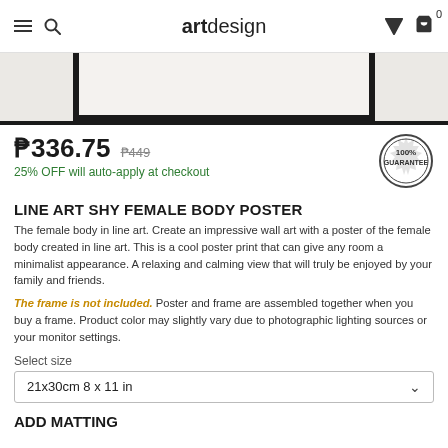artdesign
[Figure (photo): Product image showing a framed poster with line art of a female body, displayed in a dark frame against a light background. Only the bottom portion of the frame is visible.]
₱336.75  ₱449
25% OFF will auto-apply at checkout
[Figure (illustration): 100% Guarantee badge/seal in circular stamp design]
LINE ART SHY FEMALE BODY POSTER
The female body in line art. Create an impressive wall art with a poster of the female body created in line art. This is a cool poster print that can give any room a minimalist appearance. A relaxing and calming view that will truly be enjoyed by your family and friends.
The frame is not included. Poster and frame are assembled together when you buy a frame. Product color may slightly vary due to photographic lighting sources or your monitor settings.
Select size
21x30cm 8 x 11 in
ADD MATTING